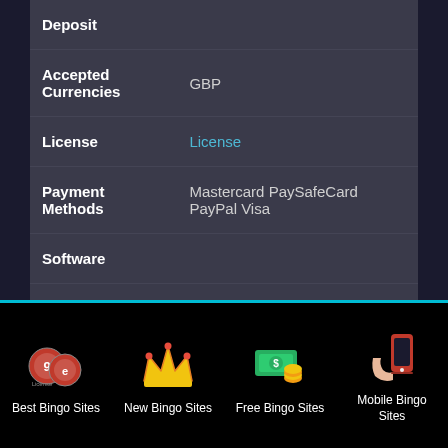| Field | Value |
| --- | --- |
| Deposit |  |
| Accepted Currencies | GBP |
| License | License |
| Payment Methods | Mastercard PaySafeCard PayPal Visa |
| Software |  |
| Support | Live Help | Email: support@dovebingo.com |
[Figure (infographic): Footer navigation bar with four items: Best Bingo Sites (bingo balls icon), New Bingo Sites (crown icon), Free Bingo Sites (money/coins icon), Mobile Bingo Sites (phone icon)]